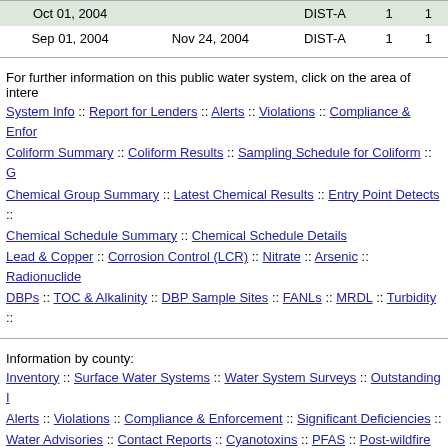|  |  | DIST-A | 1 | 1 |
| --- | --- | --- | --- | --- |
| Oct 01, 2004 |  | DIST-A | 1 | 1 |
| Sep 01, 2004 | Nov 24, 2004 | DIST-A | 1 | 1 |
For further information on this public water system, click on the area of interest:
System Info :: Report for Lenders :: Alerts :: Violations :: Compliance & Enforcement ::
Coliform Summary :: Coliform Results :: Sampling Schedule for Coliform :: G
Chemical Group Summary :: Latest Chemical Results :: Entry Point Detects ::
Chemical Schedule Summary :: Chemical Schedule Details
Lead & Copper :: Corrosion Control (LCR) :: Nitrate :: Arsenic :: Radionuclide
DBPs :: TOC & Alkalinity :: DBP Sample Sites :: FANLs :: MRDL :: Turbidity ::
Information by county:
Inventory :: Surface Water Systems :: Water System Surveys :: Outstanding I
Alerts :: Violations :: Compliance & Enforcement :: Significant Deficiencies ::
Water Advisories :: Contact Reports :: Cyanotoxins :: PFAS :: Post-wildfire Vo
Inventory List for all Oregon Drinking Water Systems in Excel or printable scr
Lab Help: Tools for Laboratories :: Staff/Partner Login